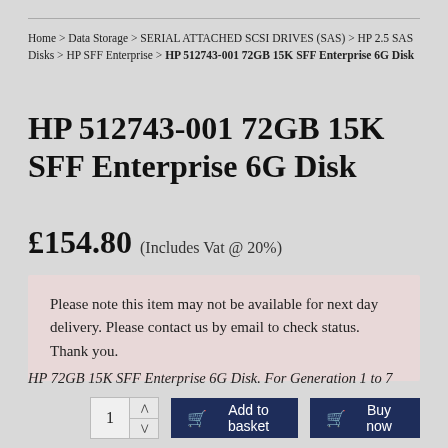Home > Data Storage > SERIAL ATTACHED SCSI DRIVES (SAS) > HP 2.5 SAS Disks > HP SFF Enterprise > HP 512743-001 72GB 15K SFF Enterprise 6G Disk
HP 512743-001 72GB 15K SFF Enterprise 6G Disk
£154.80 (Includes Vat @ 20%)
Please note this item may not be available for next day delivery. Please contact us by email to check status. Thank you.
HP 72GB 15K SFF Enterprise 6G Disk. For Generation 1 to 7